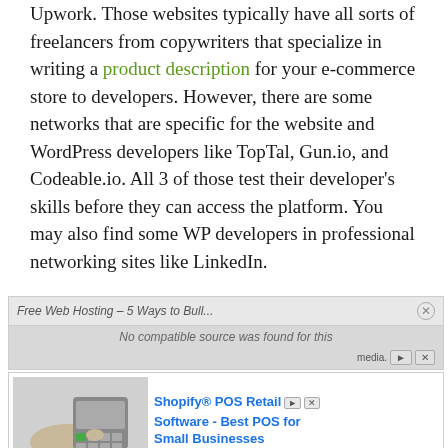Upwork. Those websites typically have all sorts of freelancers from copywriters that specialize in writing a product description for your e-commerce store to developers. However, there are some networks that are specific for the website and WordPress developers like TopTal, Gun.io, and Codeable.io. All 3 of those test their developer's skills before they can access the platform. You may also find some WP developers in professional networking sites like LinkedIn.
[Figure (other): Advertisement banner showing a hand using a card payment terminal. Ad title reads 'Shopify® POS Retail Software - Best POS for Small Businesses'. Contains video player controls and an 'Ad' label at bottom.]